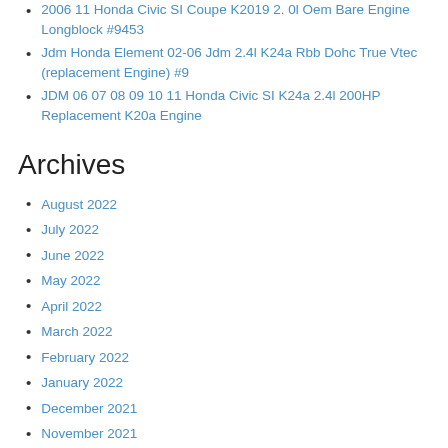2006 11 Honda Civic SI Coupe K2019 2. 0l Oem Bare Engine Longblock #9453
Jdm Honda Element 02-06 Jdm 2.4l K24a Rbb Dohc True Vtec (replacement Engine) #9
JDM 06 07 08 09 10 11 Honda Civic SI K24a 2.4l 200HP Replacement K20a Engine
Archives
August 2022
July 2022
June 2022
May 2022
April 2022
March 2022
February 2022
January 2022
December 2021
November 2021
October 2021
September 2021
August 2021